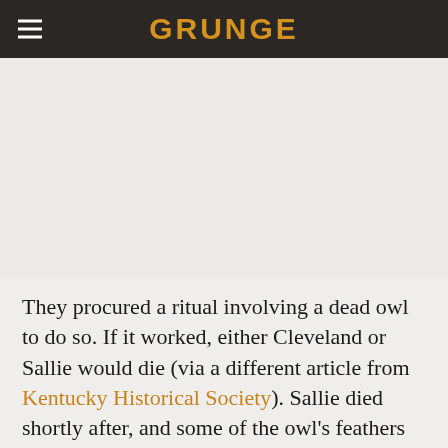GRUNGE
They procured a ritual involving a dead owl to do so. If it worked, either Cleveland or Sallie would die (via a different article from Kentucky Historical Society). Sallie died shortly after, and some of the owl's feathers are still in the top drawer to keep the curse at bay. Since no one